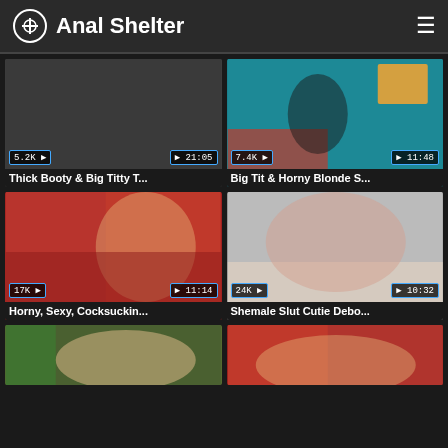Anal Shelter
[Figure (screenshot): Video thumbnail 1 - dark/grey background, views: 5.2K, duration: 21:05]
Thick Booty & Big Titty T...
[Figure (screenshot): Video thumbnail 2 - colorful room scene, views: 7.4K, duration: 11:48]
Big Tit & Horny Blonde S...
[Figure (screenshot): Video thumbnail 3 - red room scene, views: 17K, duration: 11:14]
Horny, Sexy, Cocksuckin...
[Figure (screenshot): Video thumbnail 4 - couch scene, views: 24K, duration: 10:32]
Shemale Slut Cutie Debo...
[Figure (screenshot): Video thumbnail 5 - partial view, bottom left]
[Figure (screenshot): Video thumbnail 6 - partial view, bottom right]